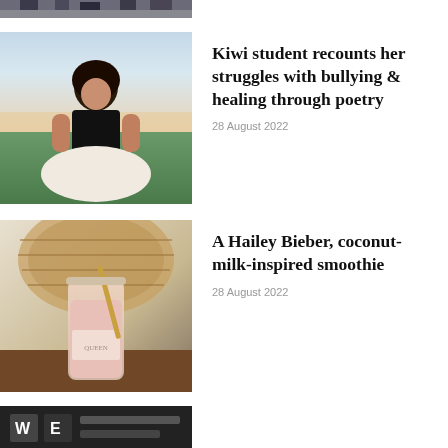[Figure (photo): Partial bottom view of a group of people standing, showing legs and feet, cropped at top of page]
[Figure (photo): Young woman with long dark hair sitting on grass in a white skirt at sunset]
Kiwi student recounts her struggles with bullying & healing through poetry
28 August 2022
[Figure (photo): A pink smoothie in a glass mason jar with a gold straw, placed on a wicker surface]
A Hailey Bieber, coconut-milk-inspired smoothie
28 August 2022
[Figure (photo): Partial image at bottom showing dark background with white letters, cropped]